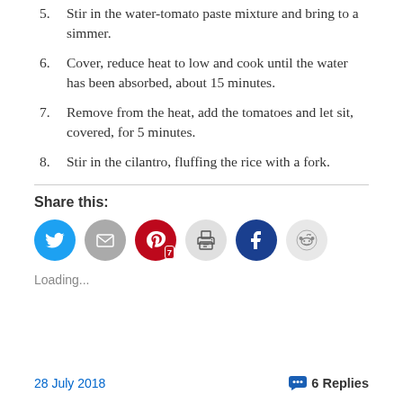5. Stir in the water-tomato paste mixture and bring to a simmer.
6. Cover, reduce heat to low and cook until the water has been absorbed, about 15 minutes.
7. Remove from the heat, add the tomatoes and let sit, covered, for 5 minutes.
8. Stir in the cilantro, fluffing the rice with a fork.
Share this:
[Figure (infographic): Social share buttons: Twitter (blue circle with bird icon), Email (gray circle with envelope icon), Pinterest (red circle with P icon and badge '7'), Print (light gray circle with printer icon), Facebook (dark blue circle with Facebook icon), Reddit (light gray circle with Reddit alien icon)]
Loading...
28 July 2018    6 Replies